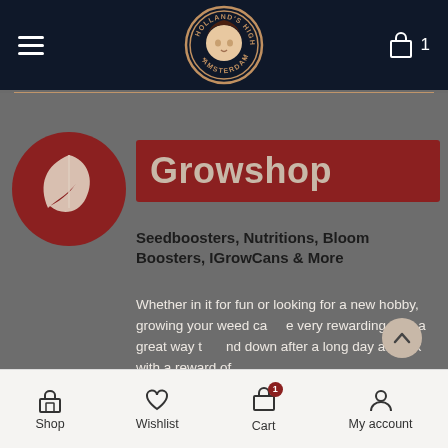Holland's High Amsterdam — navigation bar with hamburger menu, logo, cart icon with count 1
[Figure (logo): Holland's High Amsterdam circular badge logo with woman's face illustration]
Growshop
Seedboosters, Nutritions, Bloom Boosters, IGrowCans & More
Whether in it for fun or looking for a new hobby, growing your weed can be very rewarding. It is a great way to wind down after a long day at work with a reward of
[Figure (logo): Red circle with white leaf icon — growshop category icon]
Shop | Wishlist | Cart (1) | My account